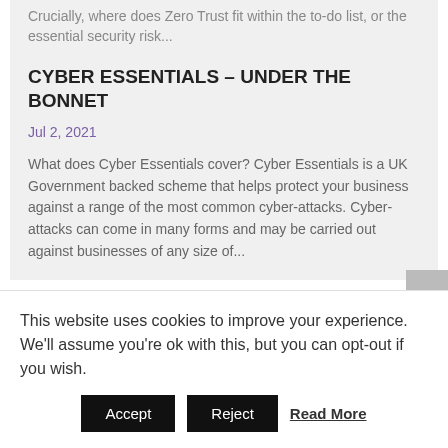Crucially, where does Zero Trust fit within the to-do list, or the essential security risk...
CYBER ESSENTIALS – UNDER THE BONNET
Jul 2, 2021
What does Cyber Essentials cover? Cyber Essentials is a UK Government backed scheme that helps protect your business against a range of the most common cyber-attacks. Cyber-attacks can come in many forms and may be carried out against businesses of any size of...
This website uses cookies to improve your experience. We'll assume you're ok with this, but you can opt-out if you wish.
Accept  Reject  Read More